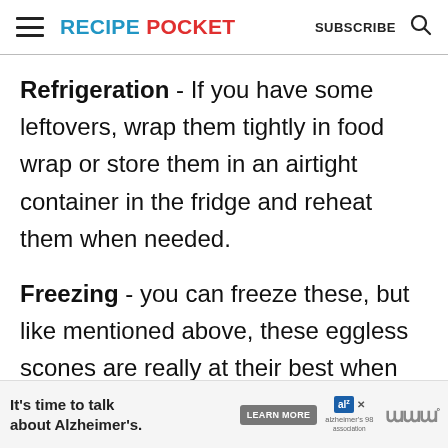RECIPE POCKET | SUBSCRIBE
Refrigeration - If you have some leftovers, wrap them tightly in food wrap or store them in an airtight container in the fridge and reheat them when needed.
Freezing - you can freeze these, but like mentioned above, these eggless scones are really at their best when c...
[Figure (other): Advertisement banner: It's time to talk about Alzheimer's. LEARN MORE button, Alzheimer's Association logo.]